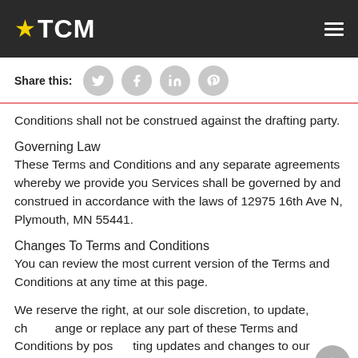TCM
Share this:
Conditions shall not be construed against the drafting party.
Governing Law
These Terms and Conditions and any separate agreements whereby we provide you Services shall be governed by and construed in accordance with the laws of 12975 16th Ave N, Plymouth, MN 55441.
Changes To Terms and Conditions
You can review the most current version of the Terms and Conditions at any time at this page.
We reserve the right, at our sole discretion, to update, change or replace any part of these Terms and Conditions by posting updates and changes to our website. It is your responsibility to